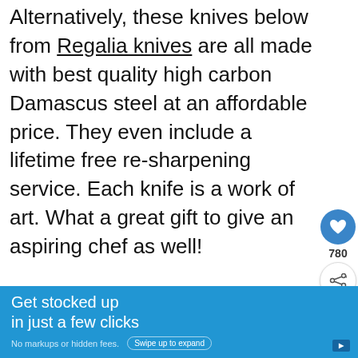Alternatively, these knives below from Regalia knives are all made with best quality high carbon Damascus steel at an affordable price. They even include a lifetime free re-sharpening service. Each knife is a work of art. What a great gift to give an aspiring chef as well!
[Figure (screenshot): Advertisement banner with green background showing a child holding a jar, text reading COOKIE DOUGH, Childhood cancer didn't stop for, with WHAT'S NEXT arrow to Essential Kitchen... sidebar]
[Figure (screenshot): Blue advertisement banner: Get stocked up in just a few clicks. No markups or hidden fees. Swipe up to expand button.]